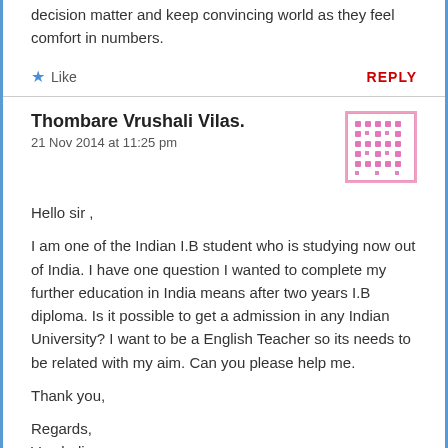decision matter and keep convincing world as they feel comfort in numbers.
Like   REPLY
Thombare Vrushali Vilas.
21 Nov 2014 at 11:25 pm
Hello sir , I am one of the Indian I.B student who is studying now out of India. I have one question I wanted to complete my further education in India means after two years I.B diploma. Is it possible to get a admission in any Indian University? I want to be a English Teacher so its needs to be related with my aim. Can you please help me.

Thank you,

Regards,
Vrushali.